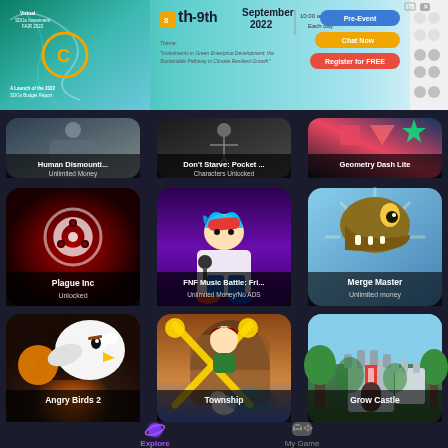[Figure (screenshot): Advertisement banner for SDGs Investment Fair, September 8th-9th 2022, 10:00am-4:00pm each day, with registration buttons]
[Figure (screenshot): Mobile app store UI showing modded games grid. Top partial row: Human Dismounting (Unlimited Money), Don't Starve: Pocket (Characters Unlocked), Geometry Dash Lite. Middle row: Plague Inc (Unlocked), FNF Music Battle: Fri... (Unlimited Money/No ADS), Merge Master (Unlimited money). Bottom row: Angry Birds 2, Township, Grow Castle. Bottom nav: Explore (active, purple), My Game.]